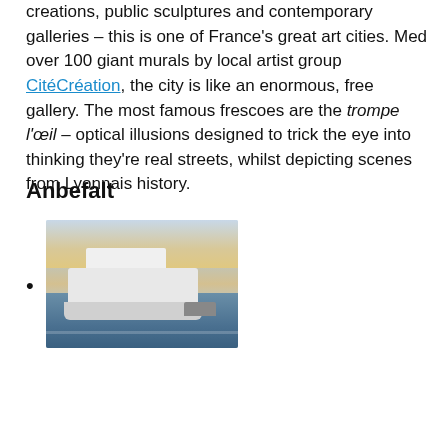creations, public sculptures and contemporary galleries – this is one of France's great art cities. Med over 100 giant murals by local artist group CitéCréation, the city is like an enormous, free gallery. The most famous frescoes are the trompe l'œil – optical illusions designed to trick the eye into thinking they're real streets, whilst depicting scenes from Lyonnais history.
Anbefalt
[image of boat/ferry on water at dusk]